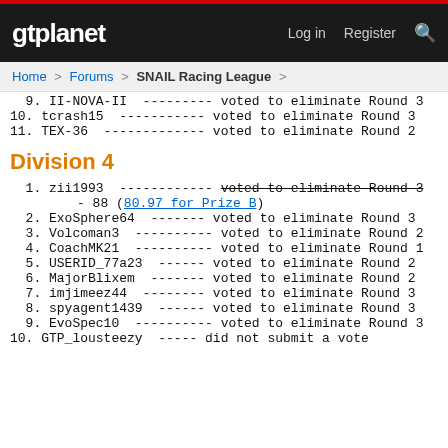gtplanet | Log in | Register
Home > Forums > SNAIL Racing League >
9.  II-NOVA-II --------- voted to eliminate Round 3
10. tcrash15 ----------- voted to eliminate Round 3
11. TEX-36 ------------- voted to eliminate Round 2
Division 4
1. zii1993 ------------ voted to eliminate Round 3 - 88 (80.97 for Prize B)
2. ExoSphere64 ------- voted to eliminate Round 3
3. Volcoman3 ---------- voted to eliminate Round 2
4. CoachMK21 ---------- voted to eliminate Round 1
5. USERID_77a23 ------ voted to eliminate Round 2
6. MajorBlixem ------- voted to eliminate Round 2
7. imjimeez44 -------- voted to eliminate Round 3
8. spyagent1439 ------ voted to eliminate Round 3
9. EvoSpec10 ---------- voted to eliminate Round 3
10. GTP_lousteezy ----- did not submit a vote